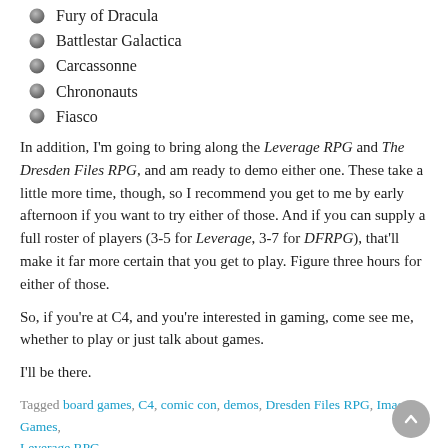Fury of Dracula
Battlestar Galactica
Carcassonne
Chrononauts
Fiasco
In addition, I'm going to bring along the Leverage RPG and The Dresden Files RPG, and am ready to demo either one. These take a little more time, though, so I recommend you get to me by early afternoon if you want to try either of those. And if you can supply a full roster of players (3-5 for Leverage, 3-7 for DFRPG), that'll make it far more certain that you get to play. Figure three hours for either of those.
So, if you're at C4, and you're interested in gaming, come see me, whether to play or just talk about games.
I'll be there.
Tagged board games, C4, comic con, demos, Dresden Files RPG, Imagine Games, Leverage RPG